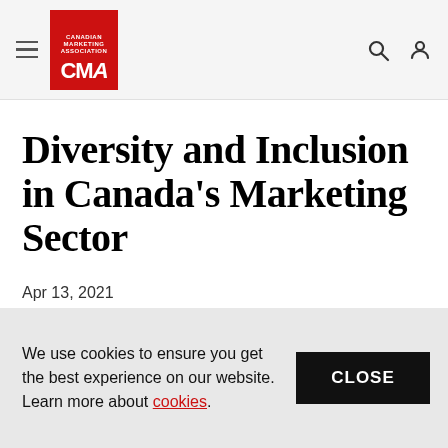Canadian Marketing Association CMA
Diversity and Inclusion in Canada's Marketing Sector
Apr 13, 2021
We use cookies to ensure you get the best experience on our website. Learn more about cookies.